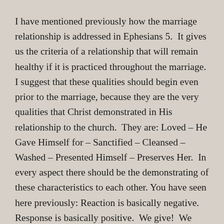I have mentioned previously how the marriage relationship is addressed in Ephesians 5.  It gives us the criteria of a relationship that will remain healthy if it is practiced throughout the marriage.  I suggest that these qualities should begin even prior to the marriage, because they are the very qualities that Christ demonstrated in His relationship to the church.  They are: Loved – He Gave Himself for – Sanctified – Cleansed – Washed – Presented Himself – Preserves Her.  In every aspect there should be the demonstrating of these characteristics to each other. You have seen here previously: Reaction is basically negative.  Response is basically positive.  We give!  We give!  We give again!